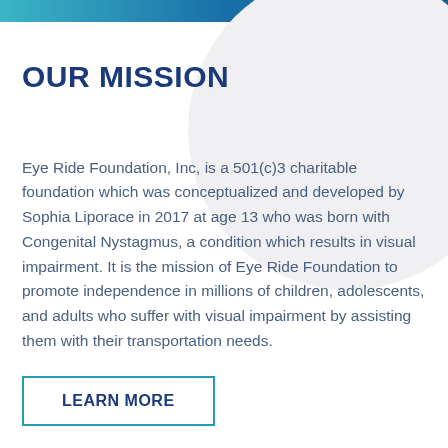OUR MISSION
Eye Ride Foundation, Inc, is a 501(c)3 charitable foundation which was conceptualized and developed by Sophia Liporace in 2017 at age 13 who was born with Congenital Nystagmus, a condition which results in visual impairment. It is the mission of Eye Ride Foundation to promote independence in millions of children, adolescents, and adults who suffer with visual impairment by assisting them with their transportation needs.
LEARN MORE